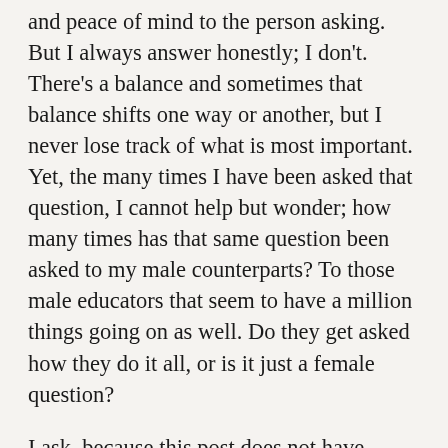and peace of mind to the person asking.  But I always answer honestly; I don't.  There's a balance and sometimes that balance shifts one way or another, but I never lose track of what is most important.  Yet, the many times I have been asked that question, I cannot help but wonder; how many times has that same question been asked to my male counterparts?  To those male educators that seem to have a million things going on as well.  Do they get asked how they do it all, or is it just a female question?
I ask, because this post does not have inspiration or answers, but it does have a lot of questions that I am hoping you will discuss with me.  Because I have started to notice that there seems to be a double standard when it comes to